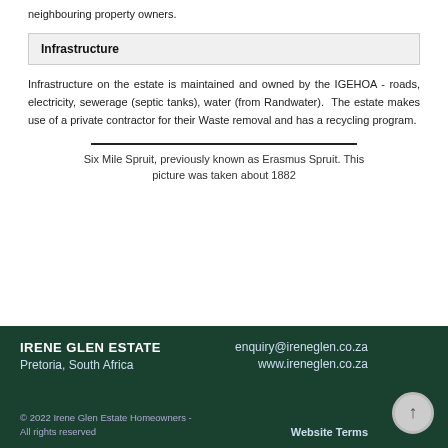neighbouring property owners.
Infrastructure
Infrastructure on the estate is maintained and owned by the IGEHOA - roads, electricity, sewerage (septic tanks), water (from Randwater). The estate makes use of a private contractor for their Waste removal and has a recycling program.
Six Mile Spruit, previously known as Erasmus Spruit. This picture was taken about 1882
IRENE GLEN ESTATE
Pretoria, South Africa
enquiry@ireneglen.co.za
www.ireneglen.co.za
© 2022 Irene Glen Estate Homeowners - All rights reserved
Website Terms